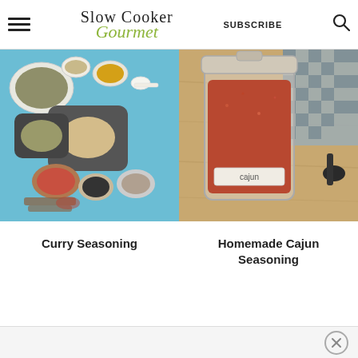Slow Cooker Gourmet | SUBSCRIBE
[Figure (photo): Overhead view of various spices in small bowls and plates on a blue background — curry seasoning ingredients]
[Figure (photo): A glass jar labeled 'cajun' filled with reddish-brown Cajun seasoning on a wooden surface with a dark spoon and checkered cloth]
Curry Seasoning
Homemade Cajun Seasoning
× (close ad)